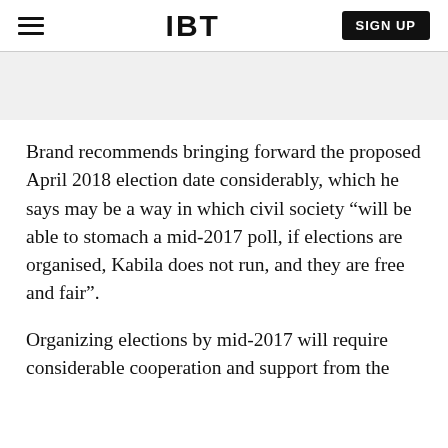IBT | SIGN UP
Brand recommends bringing forward the proposed April 2018 election date considerably, which he says may be a way in which civil society "will be able to stomach a mid-2017 poll, if elections are organised, Kabila does not run, and they are free and fair".
Organizing elections by mid-2017 will require considerable cooperation and support from the